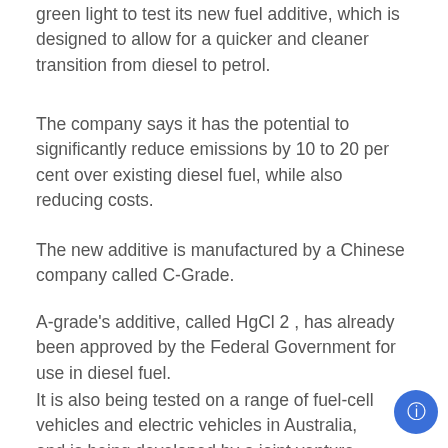green light to test its new fuel additive, which is designed to allow for a quicker and cleaner transition from diesel to petrol.
The company says it has the potential to significantly reduce emissions by 10 to 20 per cent over existing diesel fuel, while also reducing costs.
The new additive is manufactured by a Chinese company called C-Grade.
A-grade's additive, called HgCl 2 , has already been approved by the Federal Government for use in diesel fuel.
It is also being tested on a range of fuel-cell vehicles and electric vehicles in Australia, and is being developed by a joint venture between C-grade and Australia's largest auto supplier, Holden.